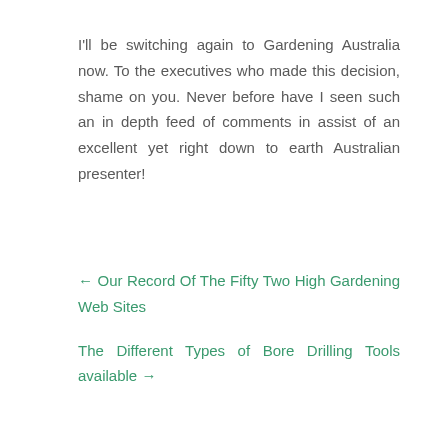I'll be switching again to Gardening Australia now. To the executives who made this decision, shame on you. Never before have I seen such an in depth feed of comments in assist of an excellent yet right down to earth Australian presenter!
← Our Record Of The Fifty Two High Gardening Web Sites
The Different Types of Bore Drilling Tools available →